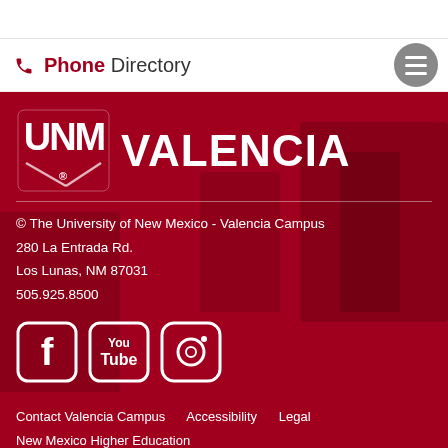Phone Directory
[Figure (logo): UNM Valencia campus logo with NM interlocked letters and VALENCIA text]
© The University of New Mexico - Valencia Campus
280 La Entrada Rd.
Los Lunas, NM 87031
505.925.8500
[Figure (infographic): Social media icons: Facebook, YouTube, Instagram]
Contact Valencia Campus    Accessibility    Legal
New Mexico Higher Education